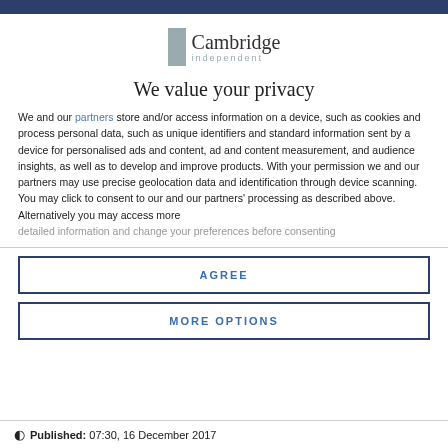[Figure (logo): Cambridge Independent logo with grey rectangle icon and text]
We value your privacy
We and our partners store and/or access information on a device, such as cookies and process personal data, such as unique identifiers and standard information sent by a device for personalised ads and content, ad and content measurement, and audience insights, as well as to develop and improve products. With your permission we and our partners may use precise geolocation data and identification through device scanning. You may click to consent to our and our partners' processing as described above. Alternatively you may access more detailed information and change your preferences before consenting
AGREE
MORE OPTIONS
Published: 07:30, 16 December 2017